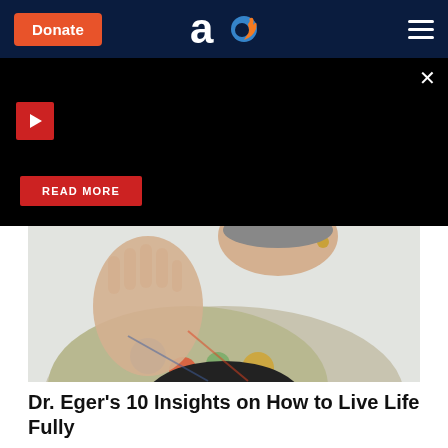Donate | aish.com logo | hamburger menu
[Figure (screenshot): Dark promotional banner with red play button icon top-left, close X button top-right, and a red READ MORE button at the bottom center-left]
[Figure (photo): Elderly woman in colorful floral patterned jacket gesturing with her hand raised, wearing dark top and hoop earrings]
Dr. Eger's 10 Insights on How to Live Life Fully
[Figure (photo): Partial bottom image strip showing beginning of another photo]